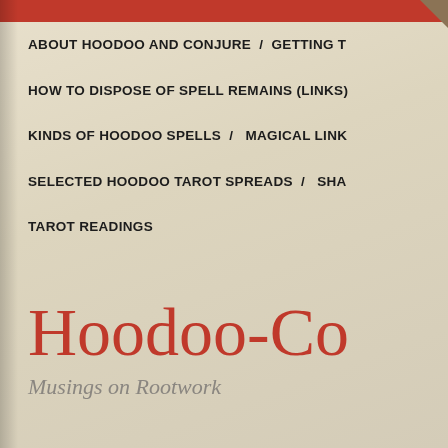ABOUT HOODOO AND CONJURE / GETTING T
HOW TO DISPOSE OF SPELL REMAINS (LINKS)
KINDS OF HOODOO SPELLS / MAGICAL LINK
SELECTED HOODOO TAROT SPREADS / SHA
TAROT READINGS
Hoodoo-Co
Musings on Rootwork